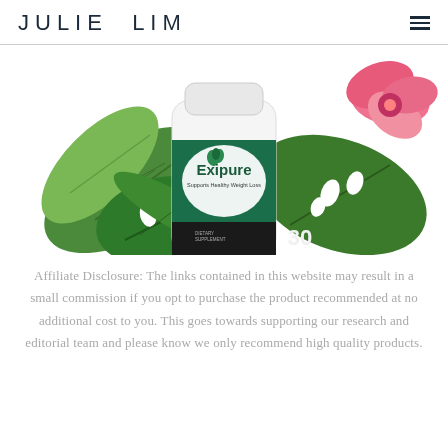JULIE LIM
[Figure (photo): Product bottle of Exipure dietary supplement surrounded by tropical green leaves and pink flower, labeled 'Supports Healthy Weight Loss', 30 capsules]
Affiliate Disclosure: The links contained in this website may result in a small commission if you opt to purchase the product recommended at no additional cost to you. This goes towards supporting our research and editorial team and please know we only recommend high quality products.